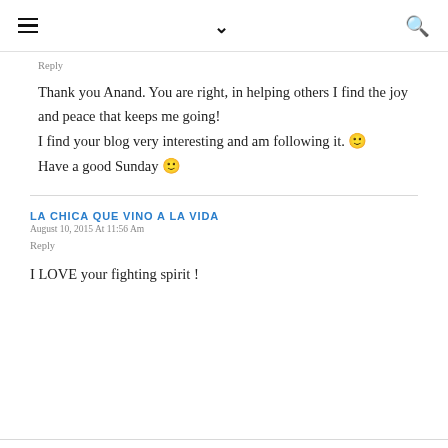≡  ∨  🔍
Reply
Thank you Anand. You are right, in helping others I find the joy and peace that keeps me going!
I find your blog very interesting and am following it. 🙂
Have a good Sunday 🙂
LA CHICA QUE VINO A LA VIDA
August 10, 2015 At 11:56 Am
Reply
I LOVE your fighting spirit !